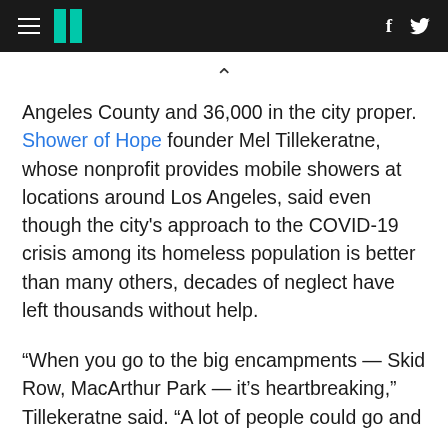HuffPost header with hamburger menu, logo, Facebook and Twitter icons
Angeles County and 36,000 in the city proper. Shower of Hope founder Mel Tillekeratne, whose nonprofit provides mobile showers at locations around Los Angeles, said even though the city's approach to the COVID-19 crisis among its homeless population is better than many others, decades of neglect have left thousands without help.
“When you go to the big encampments — Skid Row, MacArthur Park — it’s heartbreaking,” Tillekeratne said. “A lot of people could go and